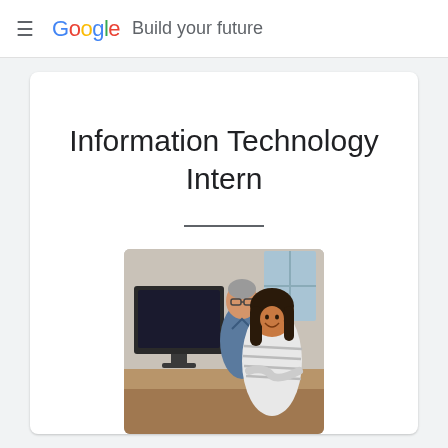≡  Google  Build your future
Information Technology Intern
[Figure (photo): Two office workers smiling in front of computer monitors; a woman in a striped shirt in the foreground and a man with glasses behind her.]